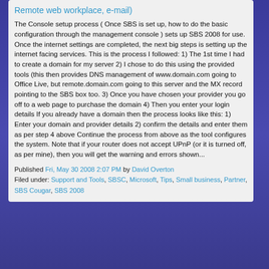Remote web workplace, e-mail)
The Console setup process ( Once SBS is set up, how to do the basic configuration through the management console ) sets up SBS 2008 for use. Once the internet settings are completed, the next big steps is setting up the internet facing services. This is the process I followed: 1) The 1st time I had to create a domain for my server 2) I chose to do this using the provided tools (this then provides DNS management of www.domain.com going to Office Live, but remote.domain.com going to this server and the MX record pointing to the SBS box too. 3) Once you have chosen your provider you go off to a web page to purchase the domain 4) Then you enter your login details If you already have a domain then the process looks like this: 1) Enter your domain and provider details 2) confirm the details and enter them as per step 4 above Continue the process from above as the tool configures the system. Note that if your router does not accept UPnP (or it is turned off, as per mine), then you will get the warning and errors shown...
Published Fri, May 30 2008 2:07 PM by David Overton
Filed under: Support and Tools, SBSC, Microsoft, Tips, Small business, Partner, SBS Cougar, SBS 2008
Setting up your internet connection in SBS 2008 console
The Console setup process ( Once SBS is set up, how to do the basic configuration through the management console ) sets up SBS 2008 for use. One of the first steps is setting up the internet connection. This is the process I followed: The routines automatically detected the router IP address – I had not set it anywhere Then finished off The process of enabling others to communicate with SBS and setting up firewall etc can be found here . Finally, all the SBS 2008 entries can be found at http://davidoverton.com/blogs/doverton/archive/tags/SBS+2008/default